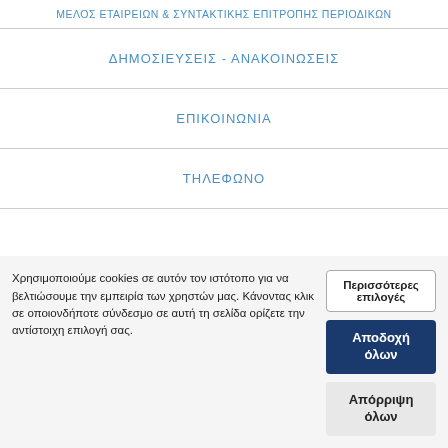ΜΕΛΟΣ ΕΤΑΙΡΕΙΩΝ & ΣΥΝΤΑΚΤΙΚΗΣ ΕΠΙΤΡΟΠΗΣ ΠΕΡΙΟΔΙΚΩΝ
ΔΗΜΟΣΙΕΥΣΕΙΣ - ΑΝΑΚΟΙΝΩΣΕΙΣ
ΕΠΙΚΟΙΝΩΝΙΑ
ΤΗΛΕΦΩΝΟ
Χρησιμοποιούμε cookies σε αυτόν τον ιστότοπο για να βελτιώσουμε την εμπειρία των χρηστών μας. Κάνοντας κλικ σε οποιονδήποτε σύνδεσμο σε αυτή τη σελίδα ορίζετε την αντίστοιχη επιλογή σας.
Περισσότερες επιλογές
Αποδοχή όλων
Απόρριψη όλων